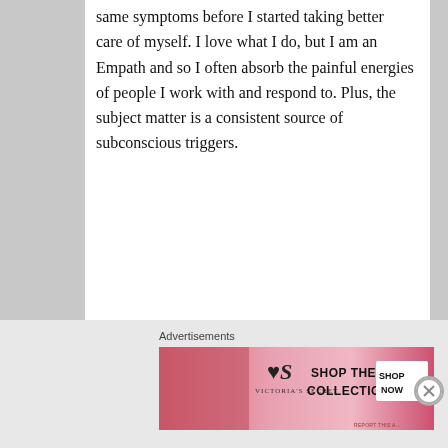same symptoms before I started taking better care of myself. I love what I do, but I am an Empath and so I often absorb the painful energies of people I work with and respond to. Plus, the subject matter is a consistent source of subconscious triggers.
There is a new focus on healing for healers. I began feeling the way you described yesterday. I forced myself out of my apartment, headed over to Barnes & Noble, and ordered my fave coffee drink and did some research on self-esteem
Advertisements
[Figure (photo): Victoria's Secret advertisement banner with a model, VS logo, text 'SHOP THE COLLECTION' and a 'SHOP NOW' button on pink background]